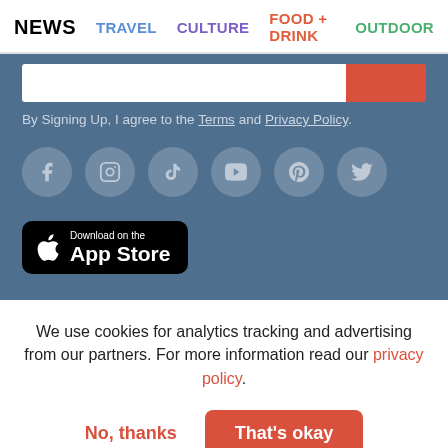NEWS  TRAVEL  CULTURE  FOOD + DRINK  OUTDOOR
By Signing Up, I agree to the Terms and Privacy Policy.
[Figure (infographic): Social media icons row: Facebook, Instagram, TikTok, YouTube, Pinterest, Twitter — circular grey icons on blue background]
[Figure (infographic): Download on the App Store button — black rounded rectangle with Apple logo]
We use cookies for analytics tracking and advertising from our partners. For more information read our privacy policy.
No, thanks   That's okay